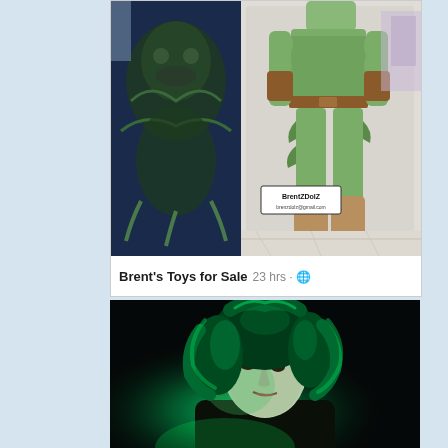[Figure (photo): A green-themed action figure displayed in a plastic clamshell blister pack. The figure appears to be a green-costumed character with brown belt and arm guards. A logo sticker reads 'BrentZDolZ' with an email address. The packaging has dark blue artwork with a monster/creature design.]
Brent's Toys for Sale 23 hrs · 🌐
[Figure (photo): A person with curly green-lit hair and pale skin photographed against a black background. The face is illuminated by a green light source giving a dramatic, dark atmosphere. They appear to be in costume or cosplay.]